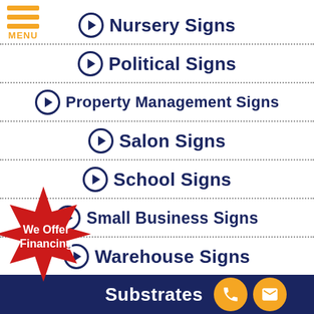[Figure (logo): Hamburger menu icon with three orange horizontal bars and MENU label in orange]
Nursery Signs
Political Signs
Property Management Signs
Salon Signs
School Signs
Small Business Signs
Warehouse Signs
[Figure (illustration): Red starburst badge with white text: We Offer Financing]
Substrates